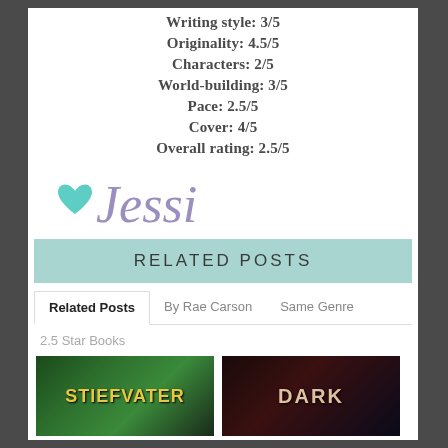Writing style: 3/5
Originality: 4.5/5
Characters: 2/5
World-building: 3/5
Pace: 2.5/5
Cover: 4/5
Overall rating: 2.5/5
[Figure (illustration): Signature reading 'Jessi' in purple cursive script with a teal heart symbol to the left]
RELATED POSTS
Related Posts | By Rae Carson | Same Genre
2.5 Star Books
[Figure (photo): Two book cover thumbnails: left shows 'STIEFVATER' text on a green nature background, right shows 'DARK' text on a dark background]